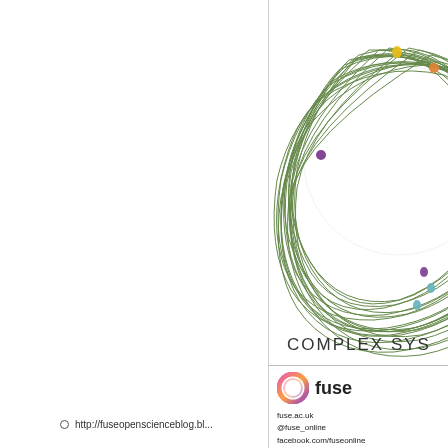[Figure (illustration): Complex network diagram: a dense ball of dark green tangled lines forming a spherical network, with small colored nodes (yellow, orange, purple, teal/blue) scattered at the perimeter]
COMPLEX SYS
[Figure (logo): Fuse logo: circular gradient ring icon in pink/orange/purple, with bold text 'fuse' beside it]
fuse.ac.uk
@fuse_online
facebook.com/fuseonline
fuseopenscienceblog.blogspot.co.uk
http://fuseopenscienceblog.bl...